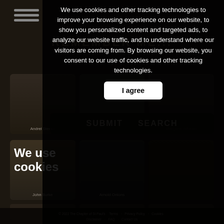REMEMBER ME...
We use cookies
SUBMIT   SEARCH
We use cookies and other tracking technologies to improve your browsing experience on our website, to show you personalized content and targeted ads, to analyze our website traffic, and to understand where our visitors are coming from. By browsing our website, you consent to our use of cookies and other tracking technologies.
I agree
Andrei Stecko
Margaret Whelan
John Burke
Arnold Onions
John Johnson
Molly Gilchrist
Lesley Richards
© 2022 The Chapter of St Paul's   Terms   Privacy Policy   Cookies   Disclaimer   FAQ   Contact Us